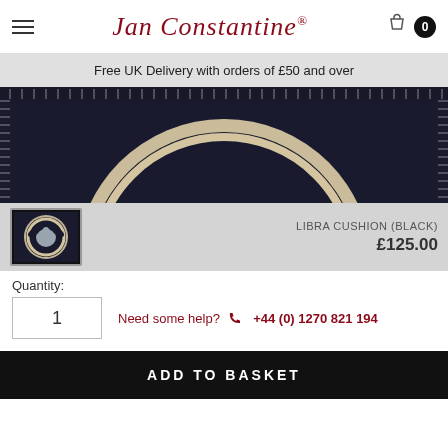Jan Constantine — hamburger menu | bag icon | 0
Free UK Delivery with orders of £50 and over
[Figure (photo): Close-up of a black felt cushion with cream/beige circular laurel wreath embroidery design]
[Figure (photo): Small thumbnail of the Libra Cushion (Black) showing full cushion with Zodiac Libra scales embroidery]
LIBRA CUSHION (BLACK)
£125.00
Quantity:
1
Need some help? +44 (0) 1270 821 194
ADD TO BASKET